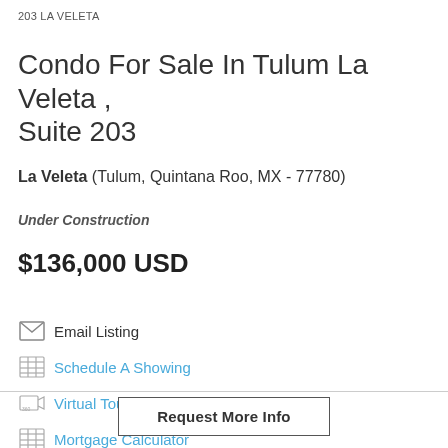203 LA VELETA
Condo For Sale In Tulum La Veleta , Suite 203
La Veleta (Tulum, Quintana Roo, MX - 77780)
Under Construction
$136,000 USD
Email Listing
Schedule A Showing
Virtual Tour
Mortgage Calculator
Request More Info